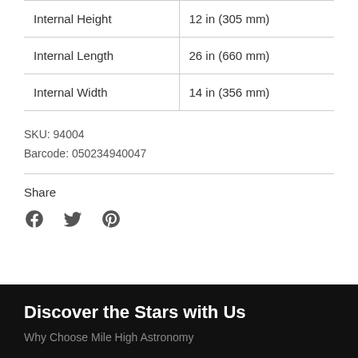|  |  |
| --- | --- |
| Internal Height | 12 in (305 mm) |
| Internal Length | 26 in (660 mm) |
| Internal Width | 14 in (356 mm) |
SKU: 94004
Barcode: 050234940047
Share
[Figure (other): Social share icons: Facebook (f), Twitter (bird), Pinterest (P)]
Discover the Stars with Us
Why Choose Mile High Astronomy